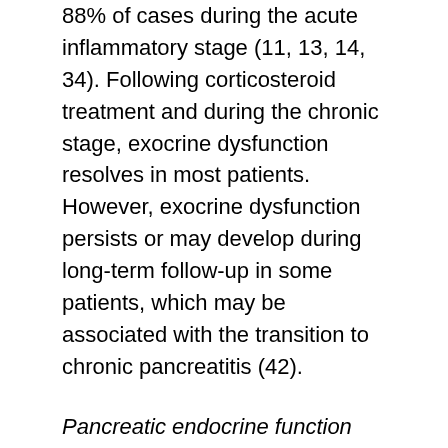88% of cases during the acute inflammatory stage (11, 13, 14, 34). Following corticosteroid treatment and during the chronic stage, exocrine dysfunction resolves in most patients. However, exocrine dysfunction persists or may develop during long-term follow-up in some patients, which may be associated with the transition to chronic pancreatitis (42).
Pancreatic endocrine function
Diabetes mellitus occurs in 42% – 78% of cases during the acute stage of AIP (11, 13, 14, 33, 34). Similar to exocrine dysfunction, endocrine dysfunction, especially diabetes mellitus, is often ameliorated after corticosteroid therapy (9, 31, 34, 42). Miyamoto et al. reported amelioration of diabetes mellitus in 10 of 16 (63%) AIP patients 3 years after corticosteroid therapy, indicating that corticosteroid therapy is often effective for the treatment of diabetes